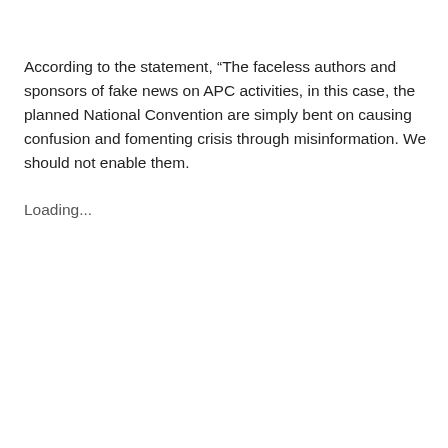According to the statement, “The faceless authors and sponsors of fake news on APC activities, in this case, the planned National Convention are simply bent on causing confusion and fomenting crisis through misinformation. We should not enable them.
Loading...